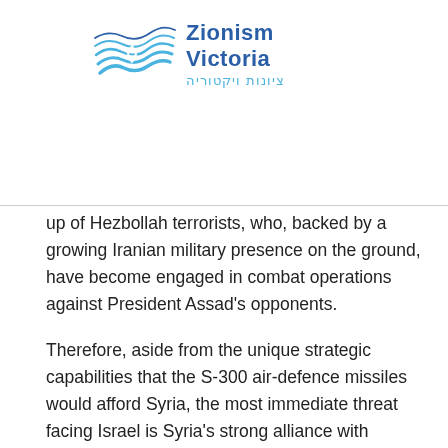[Figure (logo): Zionism Victoria logo with wave/star graphic and Hebrew text ציונות ויקטוריה]
up of Hezbollah terrorists, who, backed by a growing Iranian military presence on the ground, have become engaged in combat operations against President Assad's opponents.
Therefore, aside from the unique strategic capabilities that the S-300 air-defence missiles would afford Syria, the most immediate threat facing Israel is Syria's strong alliance with Hezbollah, and its willingness to deliver weapons to the terror organization. Currently, Israel is focusing primarily on the supply to Hezbollah of surface-to-surface missiles. Armed with these